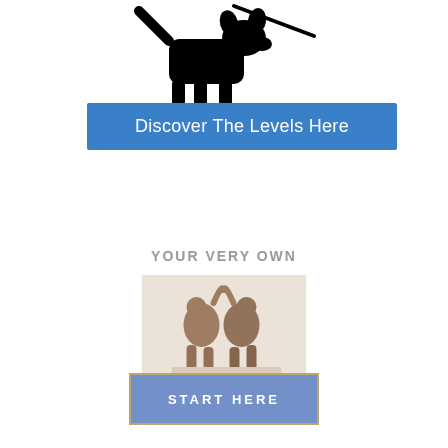[Figure (illustration): Black silhouette icon of a small dog on a leash, facing left with leash extending upper right]
Discover The Levels Here
YOUR VERY OWN
[Figure (photo): Photo of two dogs or figurines with tails forming a heart shape, sitting together on a light background]
START HERE